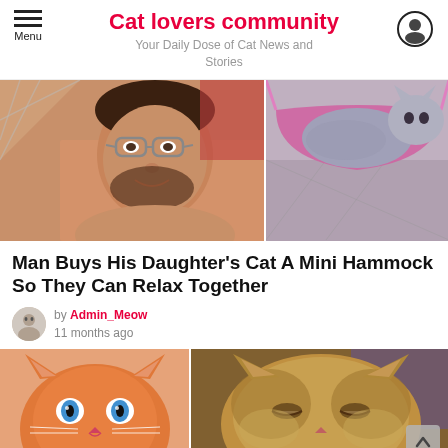Cat lovers community — Your Daily Dose of Cat News and Stories
[Figure (photo): Two photos side by side: left shows a bearded man with glasses lying down relaxing, right shows a cat in a pink/magenta mini hammock]
Man Buys His Daughter's Cat A Mini Hammock So They Can Relax Together
by Admin_Meow
11 months ago
[Figure (photo): Two photos side by side at bottom: left shows an orange/ginger cat with blue eyes, right shows a fluffy brown/golden cat]